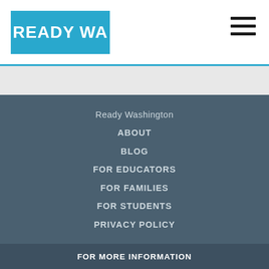[Figure (logo): Ready WA logo — cyan/teal rectangle with white bold text reading READY WA]
Ready Washington
ABOUT
BLOG
FOR EDUCATORS
FOR FAMILIES
FOR STUDENTS
PRIVACY POLICY
FOR MORE INFORMATION